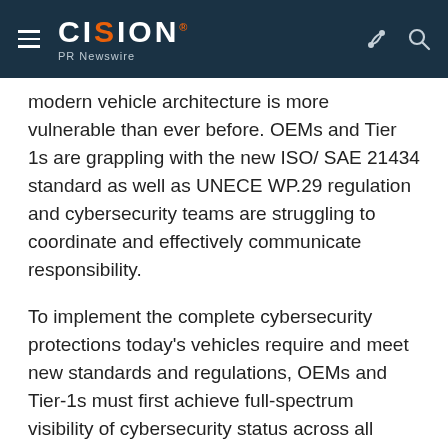CISION PR Newswire
modern vehicle architecture is more vulnerable than ever before. OEMs and Tier 1s are grappling with the new ISO/ SAE 21434 standard as well as UNECE WP.29 regulation and cybersecurity teams are struggling to coordinate and effectively communicate responsibility.
To implement the complete cybersecurity protections today's vehicles require and meet new standards and regulations, OEMs and Tier-1s must first achieve full-spectrum visibility of cybersecurity status across all vehicle models. Second, OEMs and suppliers must be able to deploy and maintain in-vehicle protections against cyber attacks throughout